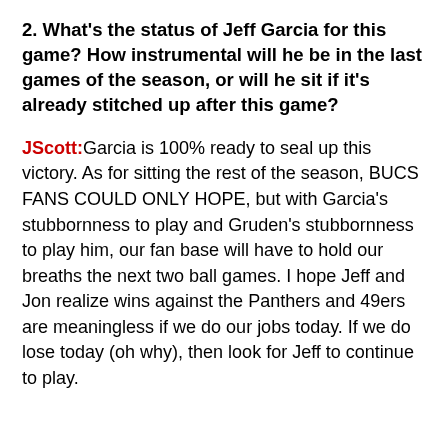2. What's the status of Jeff Garcia for this game? How instrumental will he be in the last games of the season, or will he sit if it's already stitched up after this game?
JScott: Garcia is 100% ready to seal up this victory. As for sitting the rest of the season, BUCS FANS COULD ONLY HOPE, but with Garcia's stubbornness to play and Gruden's stubbornness to play him, our fan base will have to hold our breaths the next two ball games. I hope Jeff and Jon realize wins against the Panthers and 49ers are meaningless if we do our jobs today. If we do lose today (oh why), then look for Jeff to continue to play.